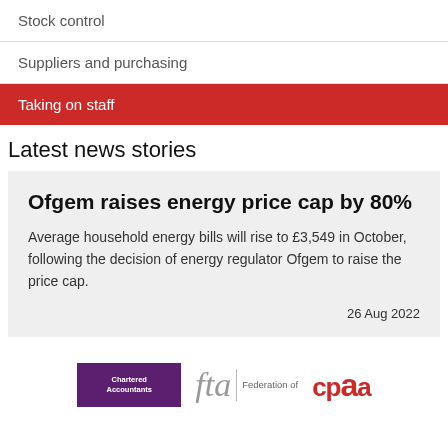Stock control
Suppliers and purchasing
Taking on staff
Latest news stories
Ofgem raises energy price cap by 80%
Average household energy bills will rise to £3,549 in October, following the decision of energy regulator Ofgem to raise the price cap.
26 Aug 2022
[Figure (logo): Logos of three organisations: Chartered Accountants, FTA Federation of, and cpaa]